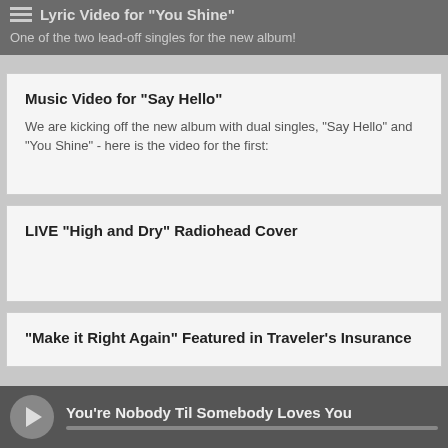Lyric Video for "You Shine"
One of the two lead-off singles for the new album!
Music Video for "Say Hello"
We are kicking off the new album with dual singles, "Say Hello" and "You Shine" - here is the video for the first:
LIVE "High and Dry" Radiohead Cover
"Make it Right Again" Featured in Traveler's Insurance
You're Nobody Til Somebody Loves You